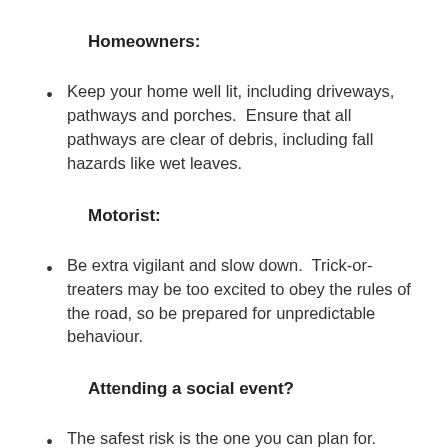Homeowners:
Keep your home well lit, including driveways, pathways and porches.  Ensure that all pathways are clear of debris, including fall hazards like wet leaves.
Motorist:
Be extra vigilant and slow down.  Trick-or-treaters may be too excited to obey the rules of the road, so be prepared for unpredictable behaviour.
Attending a social event?
The safest risk is the one you can plan for.